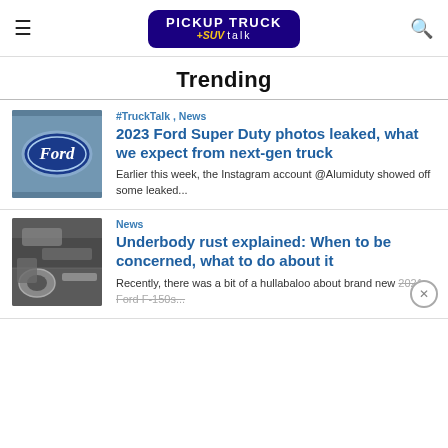Pickup Truck +SUV Talk — navigation header with hamburger menu, logo, and search icon
Trending
[Figure (photo): Ford oval blue logo on truck grille]
#TruckTalk , News
2023 Ford Super Duty photos leaked, what we expect from next-gen truck
Earlier this week, the Instagram account @Alumiduty showed off some leaked...
[Figure (photo): Underside/underbody view of a vehicle showing rust]
News
Underbody rust explained: When to be concerned, what to do about it
Recently, there was a bit of a hullabaloo about brand new 2021 Ford F-150s...